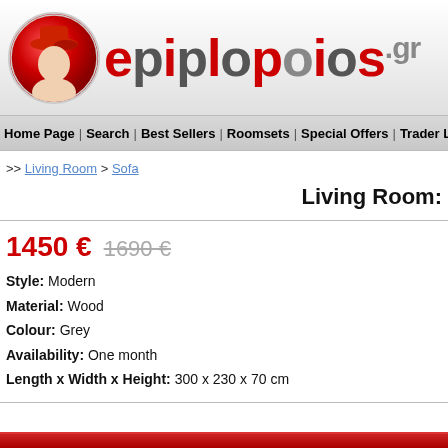[Figure (logo): epiplopoios.gr logo with red circle icon on left and stylized text]
Home Page | Search | Best Sellers | Roomsets | Special Offers | Trader List
>> Living Room > Sofa
Living Room:
1450 €  1690 €
Style: Modern
Material: Wood
Colour: Grey
Availability: One month
Length x Width x Height: 300 x 230 x 70 cm